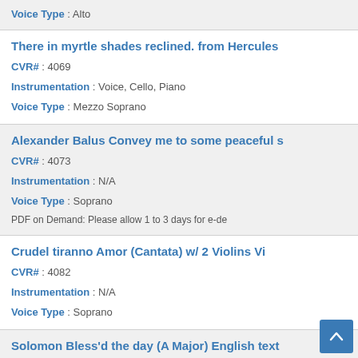Voice Type : Alto
There in myrtle shades reclined. from Hercules
CVR# : 4069
Instrumentation : Voice, Cello, Piano
Voice Type : Mezzo Soprano
Alexander Balus Convey me to some peaceful s
CVR# : 4073
Instrumentation : N/A
Voice Type : Soprano
PDF on Demand: Please allow 1 to 3 days for e-de
Crudel tiranno Amor (Cantata) w/ 2 Violins Vi
CVR# : 4082
Instrumentation : N/A
Voice Type : Soprano
Solomon Bless'd the day (A Major) English text